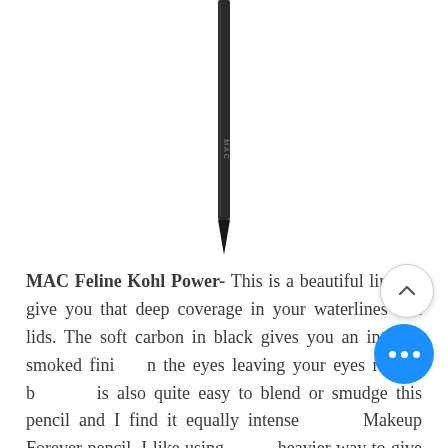[Figure (photo): A MAC eyeliner pencil shown vertically, close-up of the dark barrel with MAC branding visible near the bottom, against a white background.]
MAC Feline Kohl Power- This is a beautiful liner to give you that deep coverage in your waterlines and lids. The soft carbon in black gives you an intense, smoked finish on the eyes leaving your eyes rich in black. It is also quite easy to blend or smudge this pencil and I find it equally intense as the Makeup Forever pencil. I like using it in a heavier way to give me more intensity in